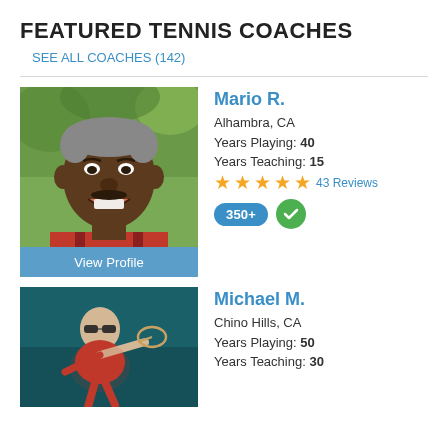FEATURED TENNIS COACHES
SEE ALL COACHES (142)
[Figure (photo): Photo of Mario R., a smiling Black man in a red shirt, with 'View Profile' button overlay]
Mario R.
Alhambra, CA
Years Playing: 40
Years Teaching: 15
43 Reviews
350+
[Figure (photo): Photo of Michael M., a man in red athletic wear swinging a tennis racket]
Michael M.
Chino Hills, CA
Years Playing: 50
Years Teaching: 30